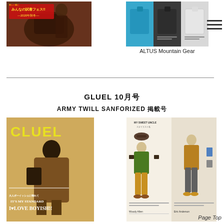[Figure (photo): Japanese magazine cover - みんなの試着フェス!! 2020年秋冬, dark red/brown tones with yellow text]
[Figure (photo): ALTUS Mountain Gear clothing catalog page showing three shirts/tops in blue, dark, and white]
ALTUS Mountain Gear
CLUEL 10月号
ARMY TWILL SANFORIZED 掲載号
[Figure (photo): CLUEL magazine cover featuring person in brown coat with LOVE BOYISH!! text in yellow]
[Figure (photo): Fashion illustration spread showing MY SWEET UNCLE styled outfits with olive green jacket and mustard pants, plus additional outfit on right side]
Page Top